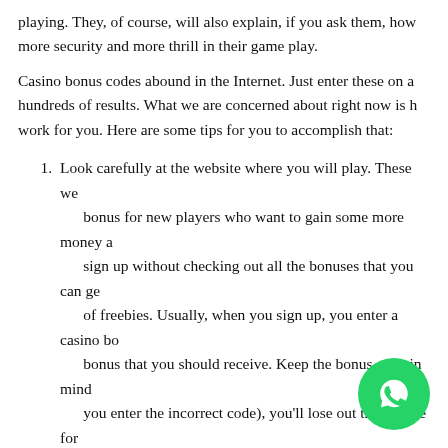playing. They, of course, will also explain, if you ask them, how to get more security and more thrill in their game play.
Casino bonus codes abound in the Internet. Just enter these on a search engine to get hundreds of results. What we are concerned about right now is how to make them work for you. Here are some tips for you to accomplish that:
Look carefully at the website where you will play. These websites often post a bonus for new players who want to gain some more money at first. Don't just sign up without checking out all the bonuses that you can get; you may be missing out of freebies. Usually, when you sign up, you enter a casino bonus code corresponding to the bonus that you should receive. Keep the bonus code in mind; if you forget it (or if you enter the incorrect code), you'll lose out the chance for the bonus.
Browse websites for bonuses found in the casino site where you will play. Bonuses are everywhere because casinos want to get as many players as possible playing in their site, so they advertise their bonuses on other websites. Search dedicated review websites for bonuses to play at a specific casino site. Now, there are many bonuses that you can get, but you can't avail of all the bonuses for any given casino at one time, so you have to deliberately choose the bonus or bonuses that you will avail.